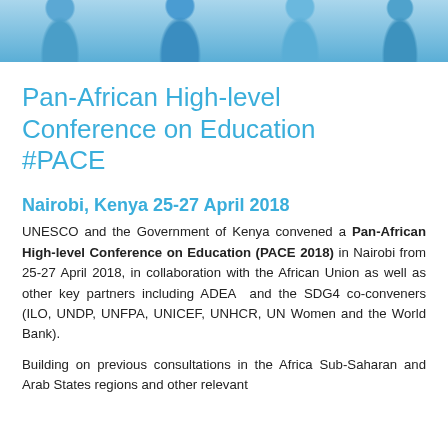[Figure (photo): Photo strip showing people in blue shirts/uniforms at the top of the page]
Pan-African High-level Conference on Education #PACE
Nairobi, Kenya 25-27 April 2018
UNESCO and the Government of Kenya convened a Pan-African High-level Conference on Education (PACE 2018) in Nairobi from 25-27 April 2018, in collaboration with the African Union as well as other key partners including ADEA and the SDG4 co-conveners (ILO, UNDP, UNFPA, UNICEF, UNHCR, UN Women and the World Bank).
Building on previous consultations in the Africa Sub-Saharan and Arab States regions and other relevant